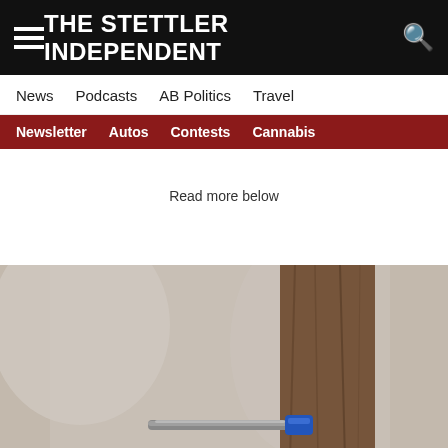THE STETTLER INDEPENDENT
News  Podcasts  AB Politics  Travel
Newsletter  Autos  Contests  Cannabis
Read more below
[Figure (photo): Close-up photo of a tree trunk with a metal tap inserted into it for maple syrup collection, with a blue connector visible at the bottom, blurred forest background]
[Figure (other): Empty advertisement placeholder box with thin border]